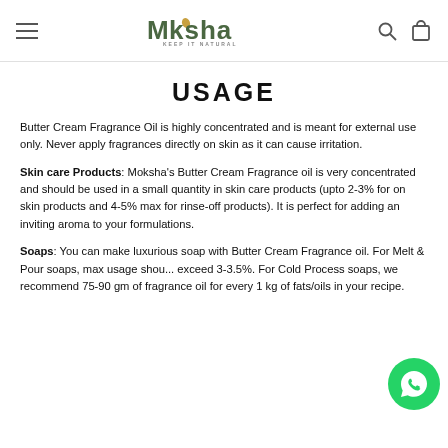Moksha — Keep It Natural (navigation header)
USAGE
Butter Cream Fragrance Oil is highly concentrated and is meant for external use only. Never apply fragrances directly on skin as it can cause irritation.
Skin care Products: Moksha's Butter Cream Fragrance oil is very concentrated and should be used in a small quantity in skin care products (upto 2-3% for on skin products and 4-5% max for rinse-off products). It is perfect for adding an inviting aroma to your formulations.
Soaps: You can make luxurious soap with Butter Cream Fragrance oil. For Melt & Pour soaps, max usage should not exceed 3-3.5%. For Cold Process soaps, we recommend 75-90 gm of fragrance oil for every 1 kg of fats/oils in your recipe.